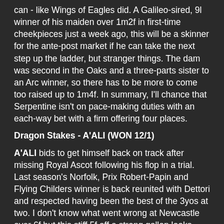can - like Wings of Eagles did. A Galileo-sired, 9l winner of his maiden over 1m2f in first-time cheekpieces just a week ago, this will be a skinner for the ante-post market if he can take the next step up the ladder, but stranger things. The dam was second in the Oaks and a three-parts sister to an Arc winner, so there has to be more to come too raised up to 1m4f. In summary, I'll chance that Serpentine isn't on pace-making duties with an each-way bet with a firm offering four places.
Dragon Stakes - A'ALI (WON 12/1)
A'ALI bids to get himself back on track after missing Royal Ascot following his flop in a trial. Last season's Norfolk, Prix Robert-Papin and Flying Childers winner is back reunited with Dettori and respected having been the best of the 3yos at two. I don't know what went wrong at Newcastle over 6f but this stiff 5f off a strong gallop looks made for him. In summary, Liberty Beach is proving stronger in the market that Lazuli this morning and I think that is right but if back to his best, double figure odds